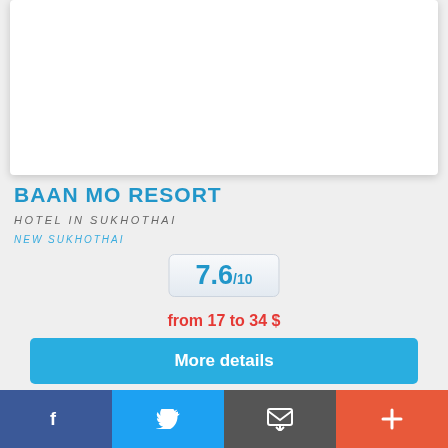[Figure (photo): White card area at top, representing a hotel image placeholder]
BAAN MO RESORT
HOTEL IN SUKHOTHAI
NEW SUKHOTHAI
7.6/10
from 17 to 34 $
More details
[Figure (screenshot): Ad banner with OPEN button and ad icons, Your Luxury Home Furnisher text]
f  [twitter]  [mail]  +